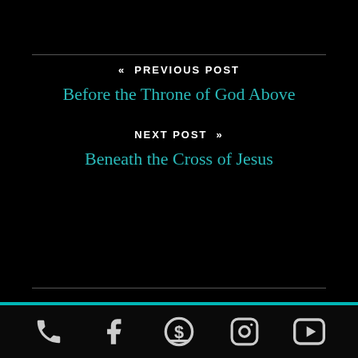« PREVIOUS POST
Before the Throne of God Above
NEXT POST »
Beneath the Cross of Jesus
[Figure (other): Footer bar with social/contact icons: phone, Facebook, dollar/giving, Instagram, YouTube]